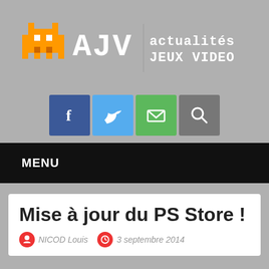[Figure (logo): AJV - Actualités Jeux Vidéo logo with pixel-art space invader character and text 'AJV actualités jeux video']
[Figure (infographic): Social media icons row: Facebook (blue), Twitter (light blue), Email/envelope (green), Search/magnifying glass (gray)]
MENU
Mise à jour du PS Store !
NICOD Louis  3 septembre 2014